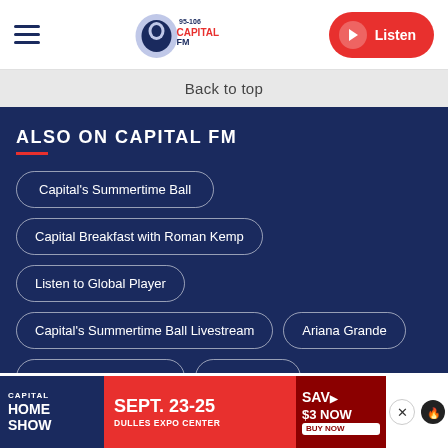Capital FM 95-106 | Listen
Back to top
ALSO ON CAPITAL FM
Capital's Summertime Ball
Capital Breakfast with Roman Kemp
Listen to Global Player
Capital's Summertime Ball Livestream
Ariana Grande
School Snow Closures
Ed Sheeran
Lou
[Figure (infographic): Capital Home Show advertisement banner: SEPT. 23-25, DULLES EXPO CENTER, SAVE $3 NOW, BUY NOW]